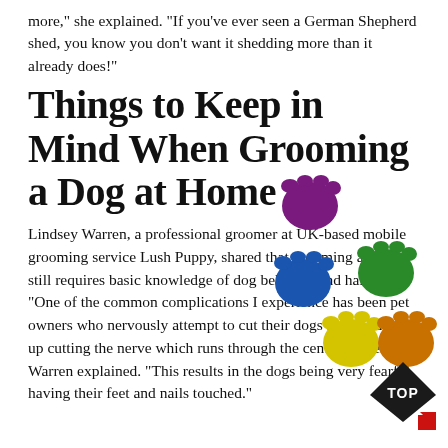more," she explained. "If you've ever seen a German Shepherd shed, you know you don't want it shedding more than it already does!"
Things to Keep in Mind When Grooming a Dog at Home
Lindsey Warren, a professional groomer at UK-based mobile grooming service Lush Puppy, shared that grooming at home still requires basic knowledge of dog behavior and handling.
"One of the common complications I experience has been pet owners who nervously attempt to cut their dogs nails and end up cutting the nerve which runs through the center of the nail," Warren explained. "This results in the dogs being very fearful having their feet and nails touched."
[Figure (illustration): Colorful paw prints in purple, blue, green, yellow, and orange/brown arranged in a cluster, overlapping the text on the right side of the page.]
[Figure (logo): Black diamond-shaped badge with the word TOP in white text, with a red diamond shape at the bottom right corner.]